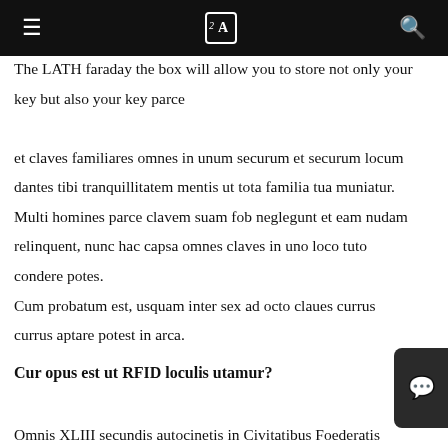≡  [icon]  🔍
The LATH faraday the box will allow you to store not only your key but also your key parce

et claves familiares omnes in unum securum et securum locum dantes tibi tranquillitatem mentis ut tota familia tua muniatur. Multi homines parce clavem suam fob neglegunt et eam nudam relinquent, nunc hac capsa omnes claves in uno loco tuto condere potes.
Cum probatum est, usquam inter sex ad octo claues currus currus aptare potest in arca.
Cur opus est ut RFID loculis utamur?
Omnis XLIII secundis autocinetis in Civitatibus Foederatis subreptus est, quae prope decies centena millia vehiculorum in anno est. Fures nunc magis
urbanus quam umquam, aperiens et operans currus tuos sine